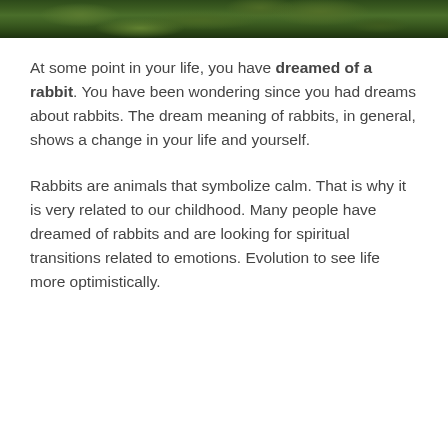[Figure (photo): Top strip of a nature/outdoor photo showing green foliage and moss on the ground, cropped to a narrow horizontal band]
At some point in your life, you have dreamed of a rabbit. You have been wondering since you had dreams about rabbits. The dream meaning of rabbits, in general, shows a change in your life and yourself.
Rabbits are animals that symbolize calm. That is why it is very related to our childhood. Many people have dreamed of rabbits and are looking for spiritual transitions related to emotions. Evolution to see life more optimistically.